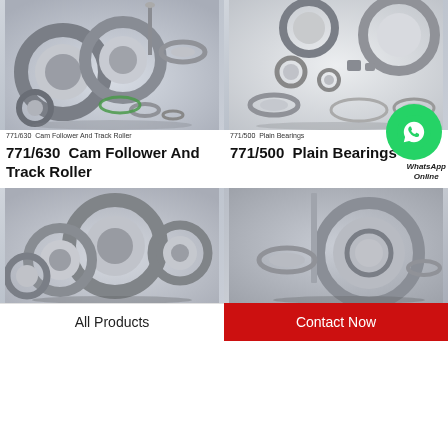[Figure (photo): Cam follower and track roller bearings assorted parts on grey background]
771/630  Cam Follower And Track Roller
771/630  Cam Follower And Track Roller
[Figure (photo): Plain bearings assorted parts on white background with WhatsApp Online badge]
771/500  Plain Bearings
771/500  Plain Bearings
[Figure (photo): Multiple cylindrical roller bearings on grey background]
[Figure (photo): Needle roller and thrust bearings on grey background]
All Products
Contact Now